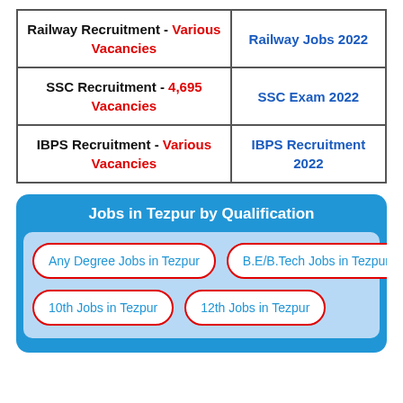| Recruitment | Jobs |
| --- | --- |
| Railway Recruitment - Various Vacancies | Railway Jobs 2022 |
| SSC Recruitment - 4,695 Vacancies | SSC Exam 2022 |
| IBPS Recruitment - Various Vacancies | IBPS Recruitment 2022 |
Jobs in Tezpur by Qualification
Any Degree Jobs in Tezpur
B.E/B.Tech Jobs in Tezpur
10th Jobs in Tezpur
12th Jobs in Tezpur